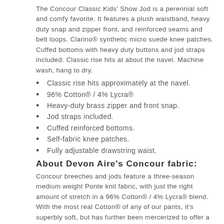The Concour Classic Kids' Show Jod is a perennial soft and comfy favorite. It features a plush waistband, heavy duty snap and zipper front, and reinforced seams and belt loops. Clarino® synthetic micro suede knee patches. Cuffed bottoms with heavy duty buttons and jod straps included. Classic rise hits at about the navel. Machine wash, hang to dry.
Classic rise hits approximately at the navel.
96% Cotton® / 4% Lycra®
Heavy-duty brass zipper and front snap.
Jod straps included.
Cuffed reinforced bottoms.
Self-fabric knee patches.
Fully adjustable drawstring waist.
About Devon Aire's Concour fabric:
Concour breeches and jods feature a three-season medium weight Ponte knit fabric, with just the right amount of stretch in a 96% Cotton® / 4% Lycra® blend. With the most real Cotton® of any of our pants, it's superbly soft, but has further been mercerized to offer a significant increase in strength and durability, along with a lovely silky sheen. All of this adds up to Concour being a perennial favorite for many years, with quality Devon...